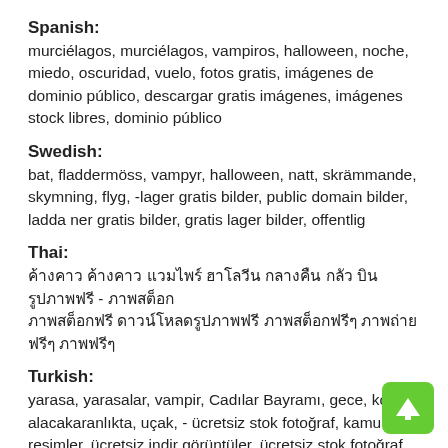Spanish:
murciélagos, murciélagos, vampiros, halloween, noche, miedo, oscuridad, vuelo, fotos gratis, imágenes de dominio público, descargar gratis imágenes, imágenes stock libres, dominio público
Swedish:
bat, fladdermöss, vampyr, halloween, natt, skrämmande, skymning, flyg, -lager gratis bilder, public domain bilder, ladda ner gratis bilder, gratis lager bilder, offentlig
Thai:
ค้างคาว ค้างคาว แวมไพร์ ฮาโลวีน กลางคืน กลัว บิน รูปภาพฟรี - ภาพสต็อก ภาพสต็อกฟรี ดาวน์โหลดรูปภาพฟรี ภาพสต็อกฟรี ภาพถ่ายฟรี
Turkish:
yarasa, yarasalar, vampir, Cadılar Bayramı, gece, korku, alacakaranlıkta, uçak, - ücretsiz stok fotoğraf, kamu malı resimler, ücretsiz indir görüntüler, ücretsiz stok fotoğraf